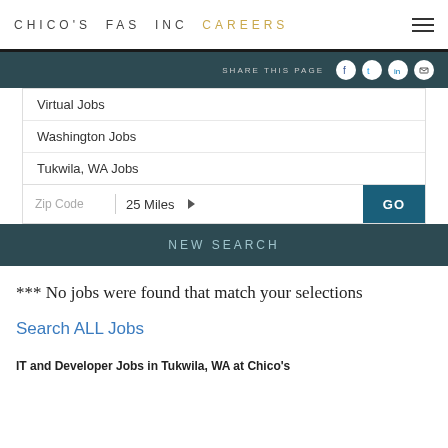CHICO'S FAS INC CAREERS
SHARE THIS PAGE
Virtual Jobs
Washington Jobs
Tukwila, WA Jobs
Zip Code   25 Miles ▶   GO
NEW SEARCH
*** No jobs were found that match your selections
Search ALL Jobs
IT and Developer Jobs in Tukwila, WA at Chico's